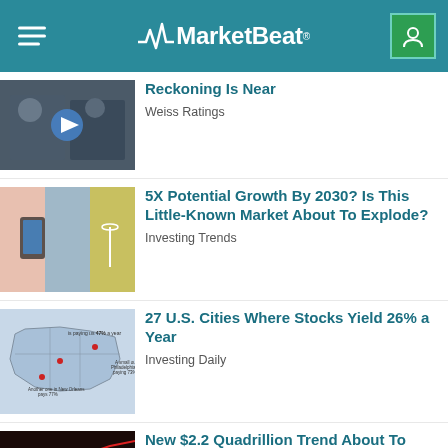MarketBeat
Reckoning Is Near
Weiss Ratings
5X Potential Growth By 2030? Is This Little-Known Market About To Explode?
Investing Trends
27 U.S. Cities Where Stocks Yield 26% a Year
Investing Daily
New $2.2 Quadrillion Trend About To Open Up
UNKNOWN